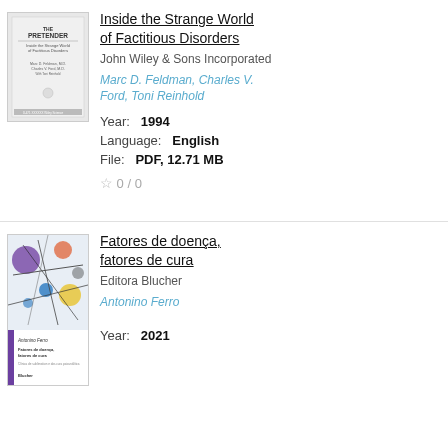[Figure (illustration): Book cover for 'The Pretender: Inside the Strange World of Factitious Disorders' showing text-based cover]
Inside the Strange World of Factitious Disorders
John Wiley & Sons Incorporated
Marc D. Feldman, Charles V. Ford, Toni Reinhold
Year:  1994
Language:  English
File:  PDF, 12.71 MB
☆ 0 / 0
[Figure (illustration): Book cover for 'Fatores de doença, fatores de cura' by Antonino Ferro, Editora Blucher, colorful abstract art cover]
Fatores de doença, fatores de cura
Editora Blucher
Antonino Ferro
Year:  2021